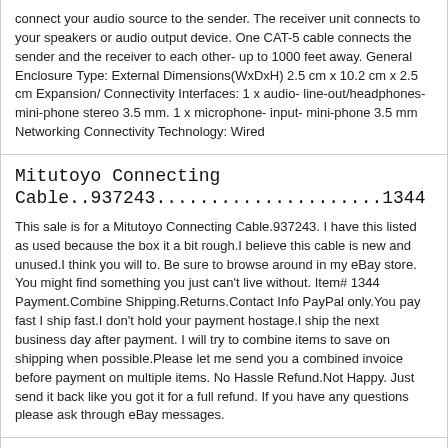connect your audio source to the sender. The receiver unit connects to your speakers or audio output device. One CAT-5 cable connects the sender and the receiver to each other- up to 1000 feet away. General Enclosure Type: External Dimensions(WxDxH) 2.5 cm x 10.2 cm x 2.5 cm Expansion/ Connectivity Interfaces: 1 x audio- line-out/headphones-mini-phone stereo 3.5 mm. 1 x microphone- input- mini-phone 3.5 mm Networking Connectivity Technology: Wired
Mitutoyo Connecting Cable..937243.....................1344
This sale is for a Mitutoyo Connecting Cable.937243. I have this listed as used because the box it a bit rough.I believe this cable is new and unused.I think you will to. Be sure to browse around in my eBay store. You might find something you just can't live without. Item# 1344 Payment.Combine Shipping.Returns.Contact Info PayPal only.You pay fast I ship fast.I don't hold your payment hostage.I ship the next business day after payment. I will try to combine items to save on shipping when possible.Please let me send you a combined invoice before payment on multiple items. No Hassle Refund.Not Happy. Just send it back like you got it for a full refund. If you have any questions please ask through eBay messages.
Giga-tronics 20954-001 Power Sensor Cable 1.5 Meter Tested
Description: we have been tested.100%working! Condition: Uesd Package including: 1 pcs x payment: PayPal(preferred) Shipping and handling: Orders usually ship within 3 business day of receiving cleared